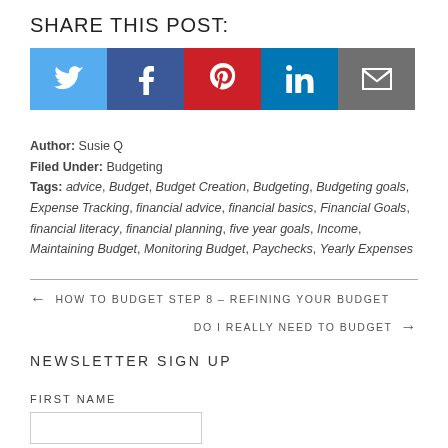SHARE THIS POST:
[Figure (infographic): Social media share buttons: Twitter (blue), Facebook (dark blue), Pinterest (red), LinkedIn (blue), Email (gray)]
Author: Susie Q
Filed Under: Budgeting
Tags: advice, Budget, Budget Creation, Budgeting, Budgeting goals, Expense Tracking, financial advice, financial basics, Financial Goals, financial literacy, financial planning, five year goals, Income, Maintaining Budget, Monitoring Budget, Paychecks, Yearly Expenses
← HOW TO BUDGET STEP 8 – REFINING YOUR BUDGET
DO I REALLY NEED TO BUDGET →
NEWSLETTER SIGN UP
FIRST NAME